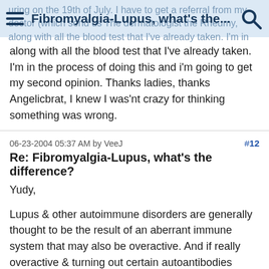Fibromyalgia-Lupus, what's the...
along with all the blood test that I've already taken. I'm in the process of doing this and i'm going to get my second opinion. Thanks ladies, thanks Angelicbrat, I knew I was'nt crazy for thinking something was wrong.
06-23-2004 05:37 AM by VeeJ  #12
Re: Fibromyalgia-Lupus, what's the difference?
Yudy,
Lupus & other autoimmune disorders are generally thought to be the result of an aberrant immune system that may also be overactive. And if really overactive & turning out certain autoantibodies (such as anti-DNA, anti-Sm, etc.), immune suppressants may actually be required.